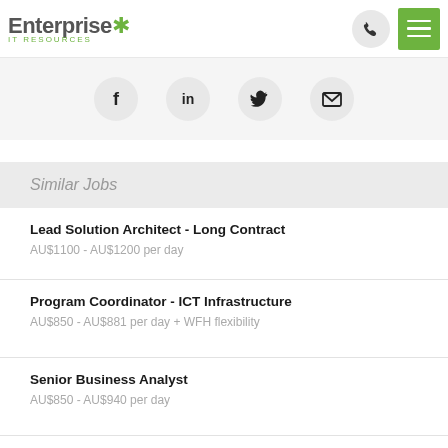Enterprise IT Resources
[Figure (other): Social share icons: Facebook, LinkedIn, Twitter, Email]
Similar Jobs
Lead Solution Architect - Long Contract
AU$1100 - AU$1200 per day
Program Coordinator - ICT Infrastructure
AU$850 - AU$881 per day + WFH flexibility
Senior Business Analyst
AU$850 - AU$940 per day